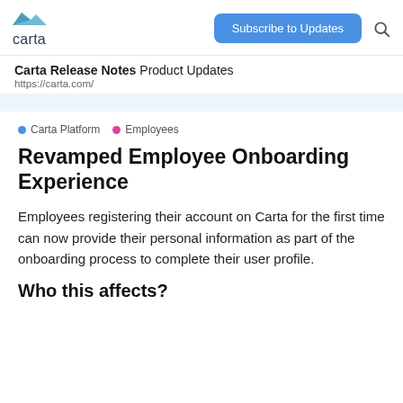carta
Subscribe to Updates
Carta Release Notes Product Updates
https://carta.com/
Carta Platform  Employees
Revamped Employee Onboarding Experience
Employees registering their account on Carta for the first time can now provide their personal information as part of the onboarding process to complete their user profile.
Who this affects?